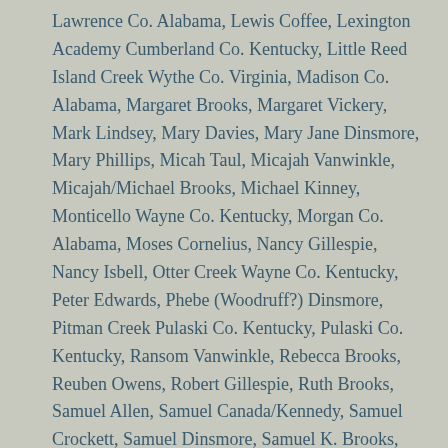Lawrence Co. Alabama, Lewis Coffee, Lexington Academy Cumberland Co. Kentucky, Little Reed Island Creek Wythe Co. Virginia, Madison Co. Alabama, Margaret Brooks, Margaret Vickery, Mark Lindsey, Mary Davies, Mary Jane Dinsmore, Mary Phillips, Micah Taul, Micajah Vanwinkle, Micajah/Michael Brooks, Michael Kinney, Monticello Wayne Co. Kentucky, Morgan Co. Alabama, Moses Cornelius, Nancy Gillespie, Nancy Isbell, Otter Creek Wayne Co. Kentucky, Peter Edwards, Phebe (Woodruff?) Dinsmore, Pitman Creek Pulaski Co. Kentucky, Pulaski Co. Kentucky, Ransom Vanwinkle, Rebecca Brooks, Reuben Owens, Robert Gillespie, Ruth Brooks, Samuel Allen, Samuel Canada/Kennedy, Samuel Crockett, Samuel Dinsmore, Samuel K. Brooks, Sarah Brooks, Sarah Whitlock, Shearer Valley Wayne Co. Kentucky, Simon Peter Huffaker, Solomon Summers, Spartanburg Co. South Carolina, Susanna Brooks, Talladega Co. Alabama, Thomas Brooks, Thomas Isbell, Thomas Marcum, Thomas Moody, Thomas Stewart, Thomas Whitlock, Thomas Whitlock Brooks, Virginia, Walter Emerson, Wesley Huffaker, William Bartleson, William Burke, William Burke Lindsey, William Davies, William Gillespie, William Hurst, William Shearer, William Wood, Wythe Co. Virginia